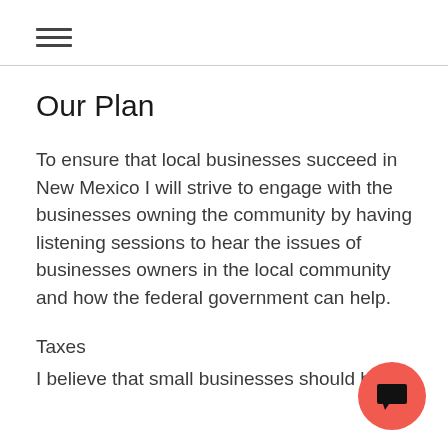☰
Our Plan
To ensure that local businesses succeed in New Mexico I will strive to engage with the businesses owning the community by having listening sessions to hear the issues of businesses owners in the local community and how the federal government can help.
Taxes
I believe that small businesses should be